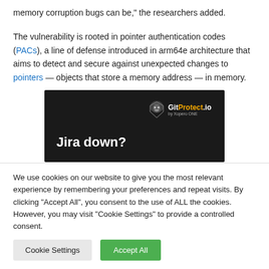memory corruption bugs can be," the researchers added.
The vulnerability is rooted in pointer authentication codes (PACs), a line of defense introduced in arm64e architecture that aims to detect and secure against unexpected changes to pointers — objects that store a memory address — in memory.
[Figure (other): Advertisement banner for GitProtect.io showing dark background with lion logo and text 'Jira down?']
We use cookies on our website to give you the most relevant experience by remembering your preferences and repeat visits. By clicking "Accept All", you consent to the use of ALL the cookies. However, you may visit "Cookie Settings" to provide a controlled consent.